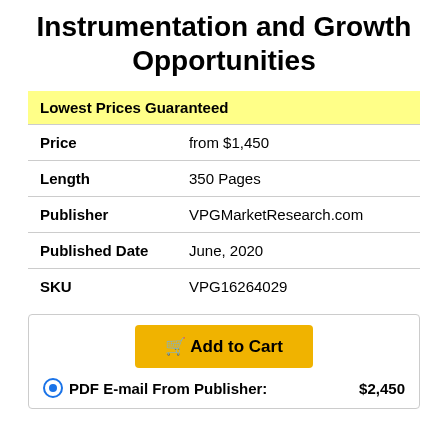Instrumentation and Growth Opportunities
| Lowest Prices Guaranteed |
| Price | from $1,450 |
| Length | 350 Pages |
| Publisher | VPGMarketResearch.com |
| Published Date | June, 2020 |
| SKU | VPG16264029 |
Add to Cart
PDF E-mail From Publisher: $2,450